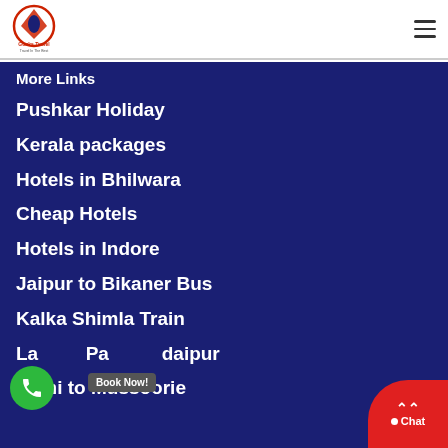[Figure (logo): Gonks Travel logo - circular emblem in red with travel agency name]
More Links
Pushkar Holiday
Kerala packages
Hotels in Bhilwara
Cheap Hotels
Hotels in Indore
Jaipur to Bikaner Bus
Kalka Shimla Train
Lal Pa...daipur
Delhi to Mussoorie